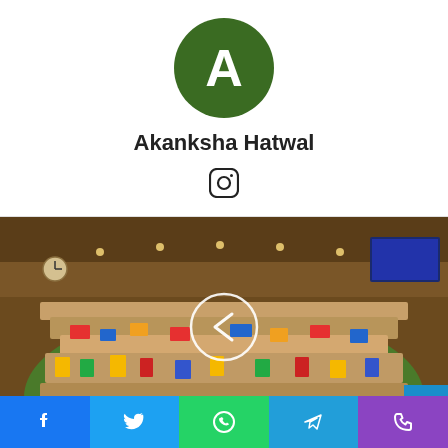[Figure (illustration): Green circle avatar with white letter A - author profile picture]
Akanksha Hatwal
[Figure (logo): Instagram icon]
[Figure (photo): Wide-angle photo of parliament or legislative assembly interior, crowded with members holding signs and banners, with a left-arrow navigation circle overlay]
[Figure (infographic): Social share bar with Facebook, Twitter, WhatsApp, Telegram, and Phone icons]